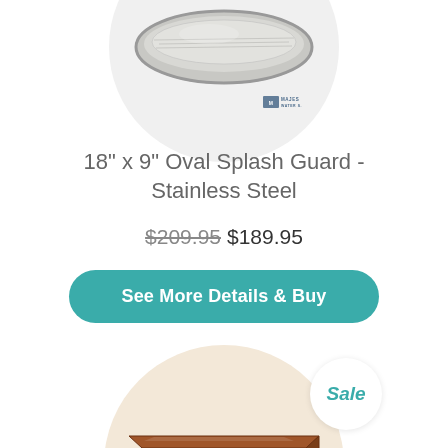[Figure (photo): Oval stainless steel splash guard product photo, shown in a light grey circular background with Majestic Water Spouts logo]
18" x 9" Oval Splash Guard - Stainless Steel
$209.95 $189.95
See More Details & Buy
Sale
[Figure (photo): Rectangular copper/brown oval splash guard product photo, shown in a warm beige circular background with Majestic Water Spouts logo]